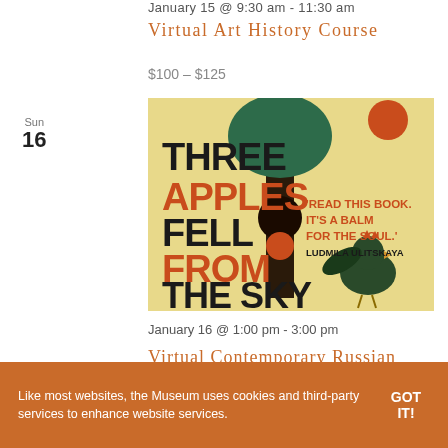January 15 @ 9:30 am - 11:30 am
Virtual Art History Course
$100 – $125
Sun 16
[Figure (photo): Book cover of 'Three Apples Fell From The Sky' with yellow background, black tree silhouette, orange text, and a rooster illustration. Quote: 'Read this book. It's a balm for the soul.' – Ludmila Ulitskaya]
January 16 @ 1:00 pm - 3:00 pm
Virtual Contemporary Russian Literature Book C...
Like most websites, the Museum uses cookies and third-party services to enhance website services.
GOT IT!